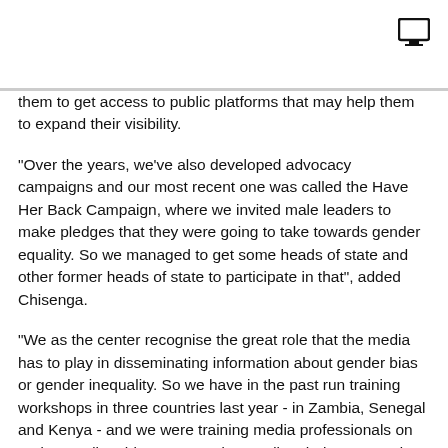them to get access to public platforms that may help them to expand their visibility.
"Over the years, we've also developed advocacy campaigns and our most recent one was called the Have Her Back Campaign, where we invited male leaders to make pledges that they were going to take towards gender equality. So we managed to get some heads of state and other former heads of state to participate in that", added Chisenga.
"We as the center recognise the great role that the media has to play in disseminating information about gender bias or gender inequality. So we have in the past run training workshops in three countries last year - in Zambia, Senegal and Kenya - and we were training media professionals on understanding this space, understanding their own gender biases because we all have them. So we've run those training workshops in the media to help them understand the role we can play", said Chisenga.